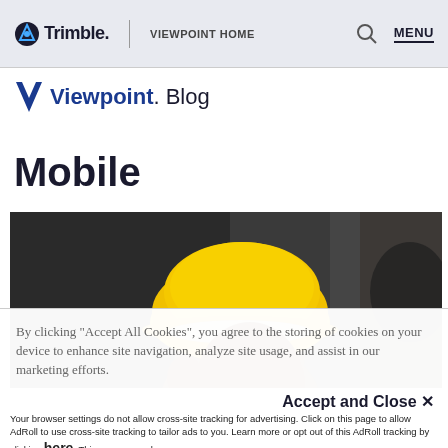Trimble. VIEWPOINT HOME MENU
Viewpoint. Blog
Mobile
[Figure (photo): Construction worker wearing a yellow hard hat, profile view, dark industrial background]
By clicking "Accept All Cookies", you agree to the storing of cookies on your device to enhance site navigation, analyze site usage, and assist in our marketing efforts.
Accept and Close ✕
Your browser settings do not allow cross-site tracking for advertising. Click on this page to allow AdRoll to use cross-site tracking to tailor ads to you. Learn more or opt out of this AdRoll tracking by clicking here. This message only appears once.